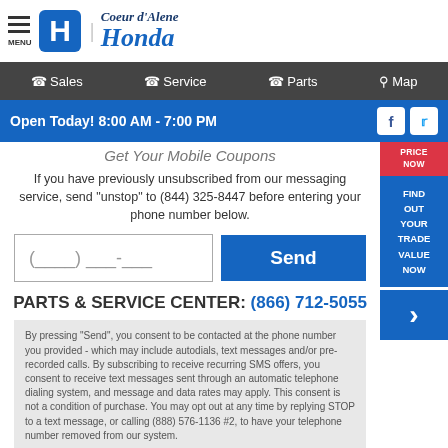Coeur d'Alene Honda
Sales | Service | Parts | Map
Open Today! 8:00 AM - 7:00 PM
Get Your Mobile Coupons
If you have previously unsubscribed from our messaging service, send "unstop" to (844) 325-8447 before entering your phone number below.
PARTS & SERVICE CENTER: (866) 712-5055
By pressing "Send", you consent to be contacted at the phone number you provided - which may include autodials, text messages and/or pre-recorded calls. By subscribing to receive recurring SMS offers, you consent to receive text messages sent through an automatic telephone dialing system, and message and data rates may apply. This consent is not a condition of purchase. You may opt out at any time by replying STOP to a text message, or calling (888) 576-1136 #2, to have your telephone number removed from our system.